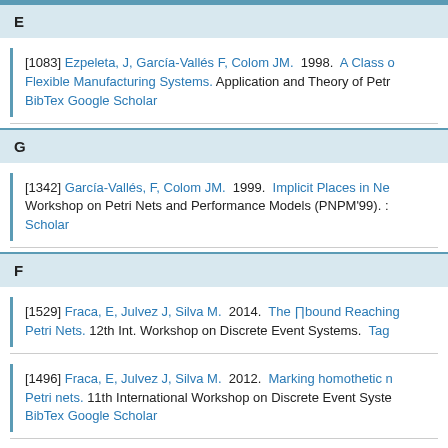E
[1083] Ezpeleta, J, García-Vallés F, Colom JM. 1998. A Class of... Flexible Manufacturing Systems. Application and Theory of Petr... BibTex Google Scholar
G
[1342] García-Vallés, F, Colom JM. 1999. Implicit Places in Ne... Workshop on Petri Nets and Performance Models (PNPM'99). :... Scholar
F
[1529] Fraca, E, Julvez J, Silva M. 2014. The ∏bound Reaching... Petri Nets. 12th Int. Workshop on Discrete Event Systems. Tag...
[1496] Fraca, E, Julvez J, Silva M. 2012. Marking homothetic n... Petri nets. 11th International Workshop on Discrete Event Syste... BibTex Google Scholar
[1586] Fraca, E, Julvez J, Silva M. 2014. On the fluidizati...